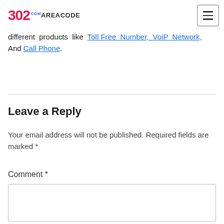302 AREACODE.com — navigation menu
different products like Toll Free Number, VoiP Network, And Call Phone.
Leave a Reply
Your email address will not be published. Required fields are marked *
Comment *